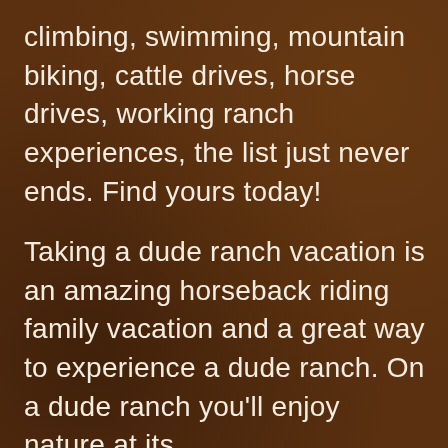climbing, swimming, mountain biking, cattle drives, horse drives, working ranch experiences, the list just never ends. Find yours today!
Taking a dude ranch vacation is an amazing horseback riding family vacation and a great way to experience a dude ranch. On a dude ranch you'll enjoy nature at its